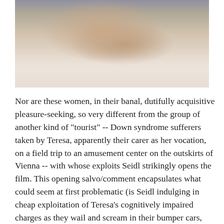[Figure (photo): A person sitting on a pink bed in a room with white curtains and a wicker headboard, appearing to hug their knees.]
Nor are these women, in their banal, dutifully acquisitive pleasure-seeking, so very different from the group of another kind of "tourist" -- Down syndrome sufferers taken by Teresa, apparently their carer as her vocation, on a field trip to an amusement center on the outskirts of Vienna -- with whose exploits Seidl strikingly opens the film. This opening salvo/comment encapsulates what could seem at first problematic (is Seidl indulging in cheap exploitation of Teresa's cognitively impaired charges as they wail and scream in their bumper cars, terrified and/or overstimulated on the ill-advised ride? Does he mean the implicit equivalency between this turbulent, commercialized escapism and that undertaken by Teresa on her trip to Kenya as an offensive insult, likening her to a "retarded" person?) about the film: We're not quite sure how to respond, how to take what we're being shown. But